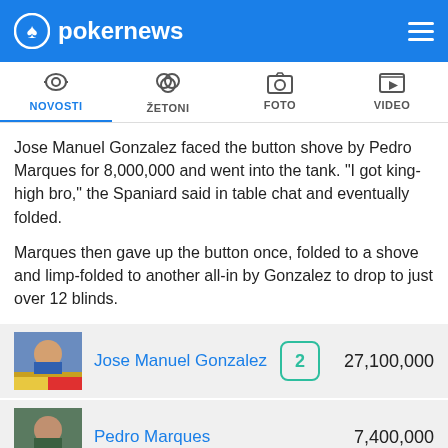pokernews
NOVOSTI | ŽETONI | FOTO | VIDEO
Jose Manuel Gonzalez faced the button shove by Pedro Marques for 8,000,000 and went into the tank. "I got king-high bro," the Spaniard said in table chat and eventually folded.
Marques then gave up the button once, folded to a shove and limp-folded to another all-in by Gonzalez to drop to just over 12 blinds.
| Player | Seat | Chips |
| --- | --- | --- |
| Jose Manuel Gonzalez | 2 | 27,100,000 |
| Pedro Marques |  | 7,400,000 |